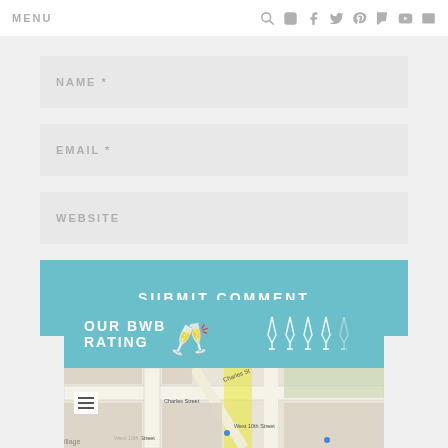MENU
NAME *
EMAIL *
WEBSITE
SUBMIT COMMENT
OUR BWB RATING
[Figure (map): Street map showing Charles Street and West 10th Street area]